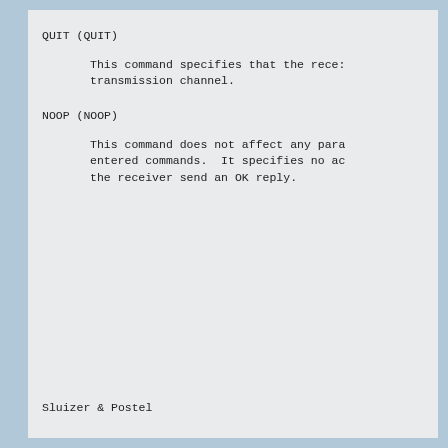QUIT (QUIT)
This command specifies that the rece- transmission channel.
NOOP (NOOP)
This command does not affect any para- entered commands.  It specifies no ac- the receiver send an OK reply.
Sluizer & Postel